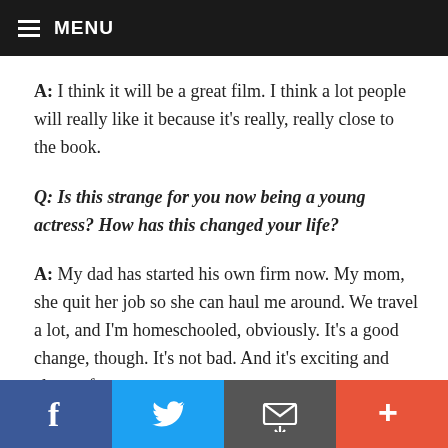MENU
A: I think it will be a great film. I think a lot people will really like it because it's really, really close to the book.
Q: Is this strange for you now being a young actress? How has this changed your life?
A: My dad has started his own firm now. My mom, she quit her job so she can haul me around. We travel a lot, and I'm homeschooled, obviously. It's a good change, though. It's not bad. And it's exciting and always fun.